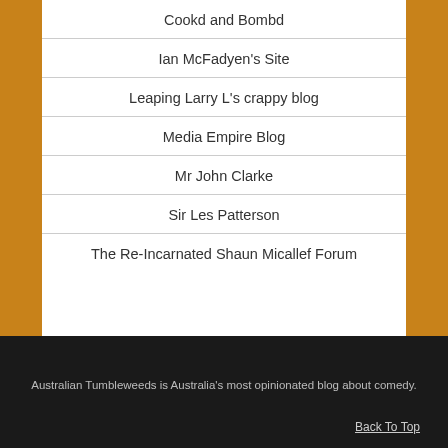Cookd and Bombd
Ian McFadyen's Site
Leaping Larry L's crappy blog
Media Empire Blog
Mr John Clarke
Sir Les Patterson
The Re-Incarnated Shaun Micallef Forum
Australian Tumbleweeds is Australia's most opinionated blog about comedy.
Back To Top